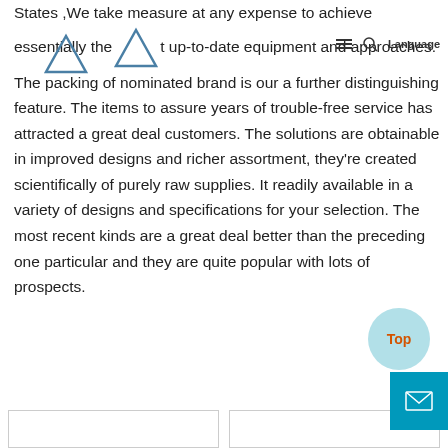States ,We take measure at any expense to achieve essentially the most up-to-date equipment and approaches. The packing of nominated brand is our a further distinguishing feature. The items to assure years of trouble-free service has attracted a great deal customers. The solutions are obtainable in improved designs and richer assortment, they're created scientifically of purely raw supplies. It readily available in a variety of designs and specifications for your selection. The most recent kinds are a great deal better than the preceding one particular and they are quite popular with lots of prospects.